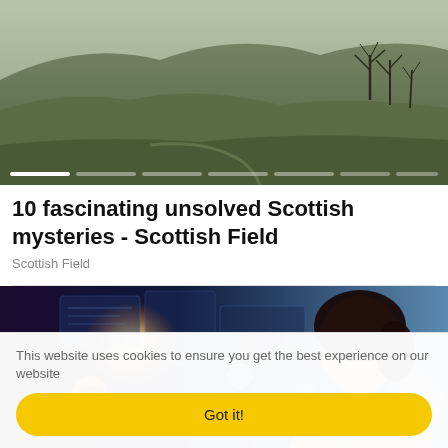[Figure (photo): Aerial/landscape photo of Scottish hills and bare trees with a slider progress bar overlay at the bottom]
10 fascinating unsolved Scottish mysteries - Scottish Field
Scottish Field
[Figure (photo): Woman touching a glowing digital interface with network nodes, tech visualization overlay]
This website uses cookies to ensure you get the best experience on our website
Got it!